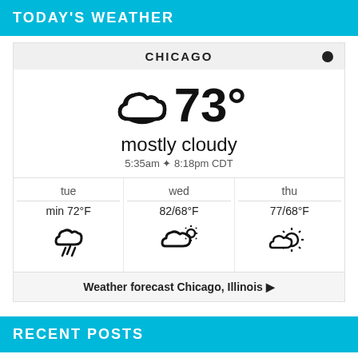TODAY'S WEATHER
[Figure (infographic): Weather widget for Chicago showing 73 degrees mostly cloudy, sunrise 5:35am sunset 8:18pm CDT, with 3-day forecast: tue min 72F thunderstorm, wed 82/68F partly cloudy, thu 77/68F partly sunny]
Weather forecast Chicago, Illinois ▶
RECENT POSTS
An Inventor Has Developed a New